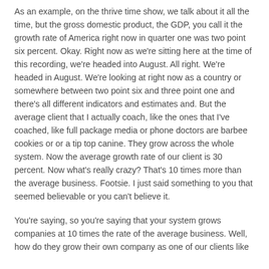As an example, on the thrive time show, we talk about it all the time, but the gross domestic product, the GDP, you call it the growth rate of America right now in quarter one was two point six percent. Okay. Right now as we're sitting here at the time of this recording, we're headed into August. All right. We're headed in August. We're looking at right now as a country or somewhere between two point six and three point one and there's all different indicators and estimates and. But the average client that I actually coach, like the ones that I've coached, like full package media or phone doctors are barbee cookies or or a tip top canine. They grow across the whole system. Now the average growth rate of our client is 30 percent. Now what's really crazy? That's 10 times more than the average business. Footsie. I just said something to you that seemed believable or you can't believe it.
You're saying, so you're saying that your system grows companies at 10 times the rate of the average business. Well, how do they grow their own company as one of our clients like...